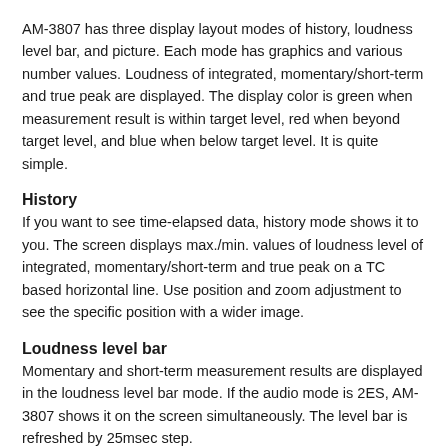AM-3807 has three display layout modes of history, loudness level bar, and picture. Each mode has graphics and various number values. Loudness of integrated, momentary/short-term and true peak are displayed. The display color is green when measurement result is within target level, red when beyond target level, and blue when below target level. It is quite simple.
History
If you want to see time-elapsed data, history mode shows it to you. The screen displays max./min. values of loudness level of integrated, momentary/short-term and true peak on a TC based horizontal line. Use position and zoom adjustment to see the specific position with a wider image.
Loudness level bar
Momentary and short-term measurement results are displayed in the loudness level bar mode. If the audio mode is 2ES, AM-3807 shows it on the screen simultaneously. The level bar is refreshed by 25msec step.
Surround Lissajous display
Surround display makes it possible to see adjacent channel correlation, each channel level including LFE, and sound surround.